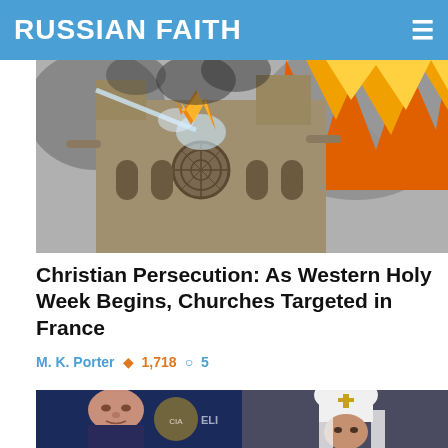RUSSIAN FAITH
[Figure (photo): Notre-Dame Cathedral on fire with large orange flames and smoke rising above the Gothic facade; a firefighter water hose sprays water at the structure]
Christian Persecution: As Western Holy Week Begins, Churches Targeted in France
M. K. Porter  🔥 1,718  💬 5
[Figure (photo): Two-panel image: left side shows a man in a suit in front of a CIA-style logo, right side shows an Orthodox bishop/metropolitan wearing a white tall klobuk with a gold cross]